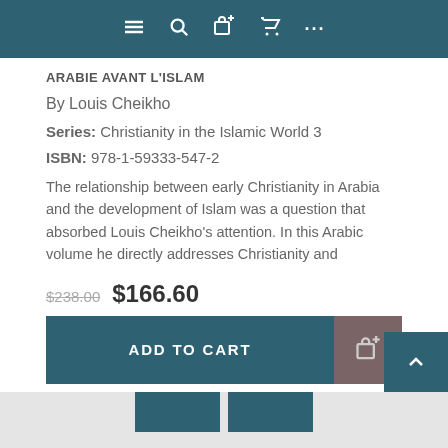Navigation toolbar with menu, search, wishlist, cart, and more icons
ARABIE AVANT L'ISLAM
By Louis Cheikho
Series: Christianity in the Islamic World 3
ISBN: 978-1-59333-547-2
The relationship between early Christianity in Arabia and the development of Islam was a question that absorbed Louis Cheikho's attention. In this Arabic volume he directly addresses Christianity and
$238.00  $166.60
ADD TO CART